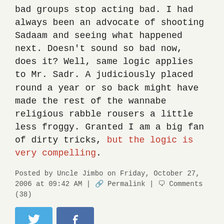bad groups stop acting bad. I had always been an advocate of shooting Sadaam and seeing what happened next. Doesn't sound so bad now, does it? Well, same logic applies to Mr. Sadr. A judiciously placed round a year or so back might have made the rest of the wannabe religious rabble rousers a little less froggy. Granted I am a big fan of dirty tricks, but the logic is very compelling.
Posted by Uncle Jimbo on Friday, October 27, 2006 at 09:42 AM | Permalink | Comments (38)
[Figure (other): Twitter and Facebook social sharing buttons]